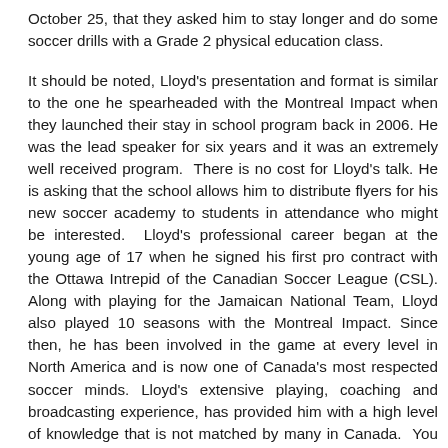October 25, that they asked him to stay longer and do some soccer drills with a Grade 2 physical education class.
It should be noted, Lloyd's presentation and format is similar to the one he spearheaded with the Montreal Impact when they launched their stay in school program back in 2006. He was the lead speaker for six years and it was an extremely well received program.  There is no cost for Lloyd's talk. He is asking that the school allows him to distribute flyers for his new soccer academy to students in attendance who might be interested.  Lloyd's professional career began at the young age of 17 when he signed his first pro contract with the Ottawa Intrepid of the Canadian Soccer League (CSL). Along with playing for the Jamaican National Team, Lloyd also played 10 seasons with the Montreal Impact. Since then, he has been involved in the game at every level in North America and is now one of Canada's most respected soccer minds. Lloyd's extensive playing, coaching and broadcasting experience, has provided him with a high level of knowledge that is not matched by many in Canada.  You can find out more about his academy at www.best11academy.com.      Lloyd can be reached at